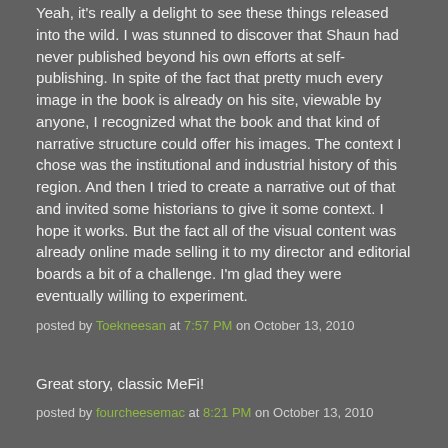Yeah, it's really a delight to see these things released into the wild. I was stunned to discover that Shaun had never published beyond his own efforts at self-publishing. In spite of the fact that pretty much every image in the book is already on his site, viewable by anyone, I recognized what the book and that kind of narrative structure could offer his images. The context I chose was the institutional and industrial history of this region. And then I tried to create a narrative out of that and invited some historians to give it some context. I hope it works. But the fact all of the visual content was already online made selling it to my director and editorial boards a bit of a challenge. I'm glad they were eventually willing to experiment.
posted by Toekneesan at 7:57 PM on October 13, 2010
Great story, classic MeFi!
posted by fourcheesemac at 8:21 PM on October 13, 2010